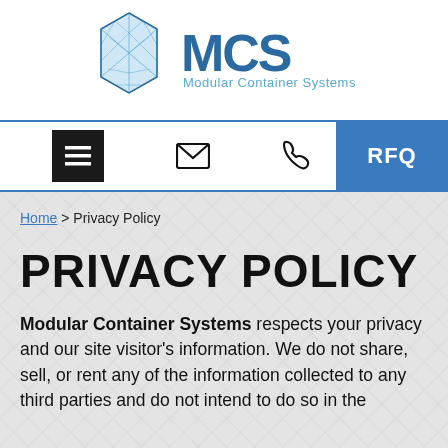[Figure (logo): MCS Modular Container Systems logo with blue 3D cube grid on left and stylized 'MCS' text with 'Modular Container Systems' tagline on right]
Navigation bar with hamburger menu, email icon, phone icon, search icon, and RFQ button
Home > Privacy Policy
PRIVACY POLICY
Modular Container Systems respects your privacy and our site visitor's information. We do not share, sell, or rent any of the information collected to any third parties and do not intend to do so in the